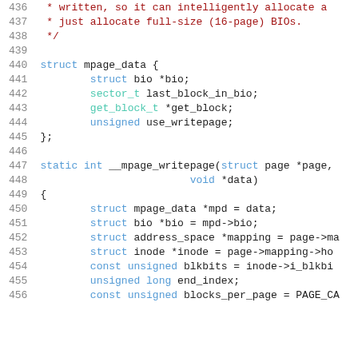[Figure (screenshot): Source code listing (C language) showing lines 436–456, including a block comment, struct mpage_data definition, and static int __mpage_writepage function with local variable declarations. Syntax highlighted with dark background monospace font.]